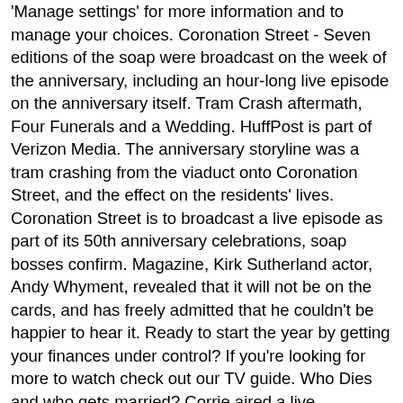'Manage settings' for more information and to manage your choices. Coronation Street - Seven editions of the soap were broadcast on the week of the anniversary, including an hour-long live episode on the anniversary itself. Tram Crash aftermath, Four Funerals and a Wedding. HuffPost is part of Verizon Media. The anniversary storyline was a tram crashing from the viaduct onto Coronation Street, and the effect on the residents' lives. Coronation Street is to broadcast a live episode as part of its 50th anniversary celebrations, soap bosses confirm. Magazine, Kirk Sutherland actor, Andy Whyment, revealed that it will not be on the cards, and has freely admitted that he couldn't be happier to hear it. Ready to start the year by getting your finances under control? If you're looking for more to watch check out our TV guide. Who Dies and who gets married? Corrie aired a live … Coronation Street will not film a live special for its 60th anniversary. Achat Coronation Street 40th Anniversary à prix bas. Those hoping for another live episode extravaganza as Coronation Street celebrates an amazing 60th year on the air are going to be disappointed as it has been confirmed that the soap will be doing something different for this milestone. Information about your device and internet connection, including your IP address, Browsing and search activity while using Verizon